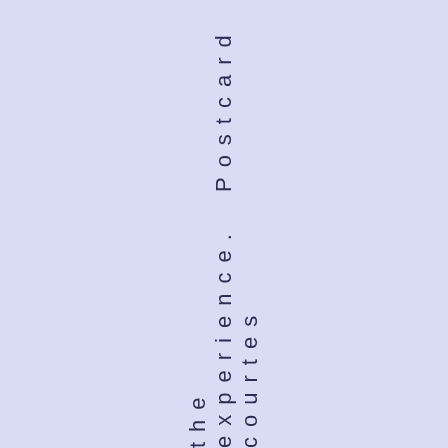the experience.  Postcard courtes